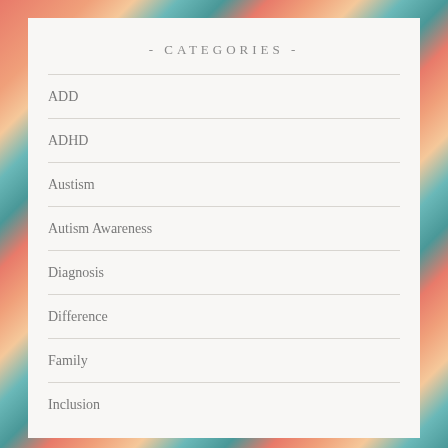- CATEGORIES -
ADD
ADHD
Austism
Autism Awareness
Diagnosis
Difference
Family
Inclusion